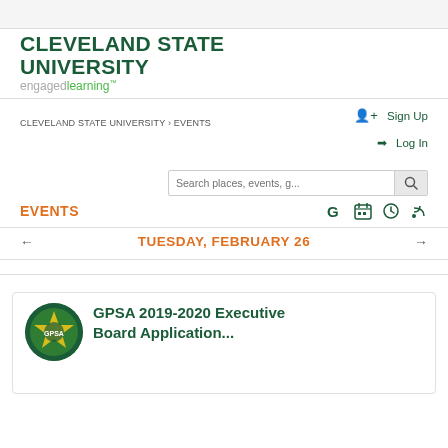[Figure (logo): Hamburger menu icon (three horizontal lines) in top right corner]
[Figure (logo): Cleveland State University engaged learning logo with green text]
CLEVELAND STATE UNIVERSITY › EVENTS
Sign Up
Log In
Search places, events, g...
EVENTS
TUESDAY, FEBRUARY 26
[Figure (logo): GPSA circular logo with green and yellow colors]
GPSA 2019-2020 Executive Board Application...